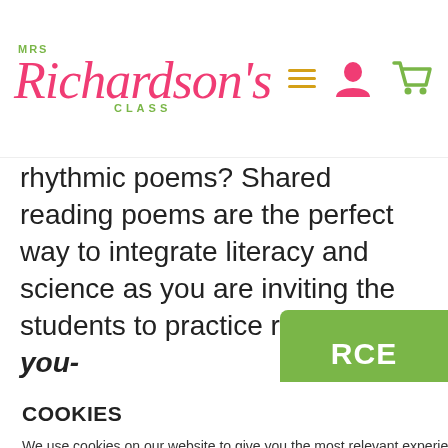MRS Richardson's CLASS
rhythmic poems? Shared reading poems are the perfect way to integrate literacy and science as you are inviting the students to practice reading with you-
, rhythmic, ading as they or
COOKIES
We use cookies on our website to give you the most relevant experience by remembering your preferences and repeat visits. By clicking “Accept”, you consent to the use of ALL the cookies.
Do not sell my personal information.
RCE
$5.25